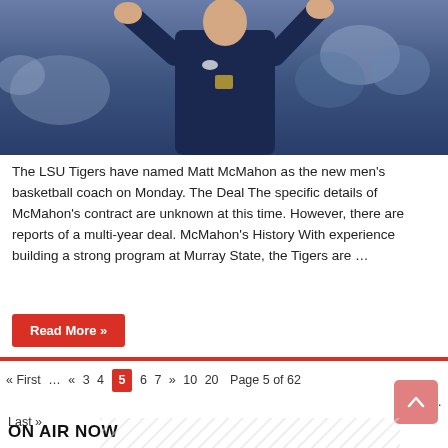[Figure (photo): A basketball coach in a navy blue Nike pullover with hands raised, standing on sideline with crowd in background]
The LSU Tigers have named Matt McMahon as the new men's basketball coach on Monday. The Deal The specific details of McMahon's contract are unknown at this time. However, there are reports of a multi-year deal. McMahon's History With experience building a strong program at Murray State, the Tigers are …
Read More »
« First … « 3 4 5 6 7 » 10 20 Page 5 of 62 30 … Last »
ON AIR NOW